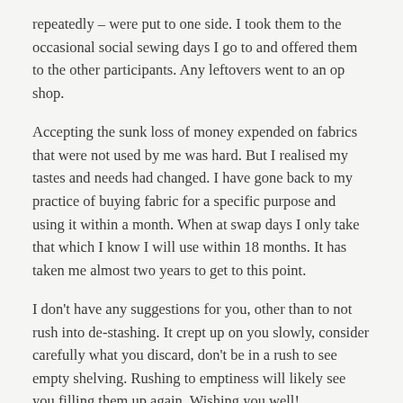repeatedly – were put to one side. I took them to the occasional social sewing days I go to and offered them to the other participants. Any leftovers went to an op shop.
Accepting the sunk loss of money expended on fabrics that were not used by me was hard. But I realised my tastes and needs had changed. I have gone back to my practice of buying fabric for a specific purpose and using it within a month. When at swap days I only take that which I know I will use within 18 months. It has taken me almost two years to get to this point.
I don't have any suggestions for you, other than to not rush into de-stashing. It crept up on you slowly, consider carefully what you discard, don't be in a rush to see empty shelving. Rushing to emptiness will likely see you filling them up again. Wishing you well!